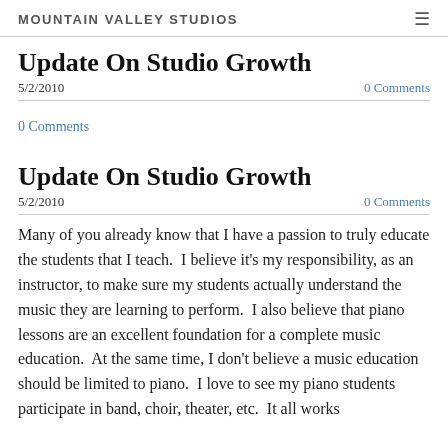MOUNTAIN VALLEY STUDIOS
Update On Studio Growth
5/2/2010
0 Comments
0 Comments
Update On Studio Growth
5/2/2010
0 Comments
Many of you already know that I have a passion to truly educate the students that I teach.  I believe it's my responsibility, as an instructor, to make sure my students actually understand the music they are learning to perform.  I also believe that piano lessons are an excellent foundation for a complete music education.  At the same time, I don't believe a music education should be limited to piano.  I love to see my piano students participate in band, choir, theater, etc.  It all works